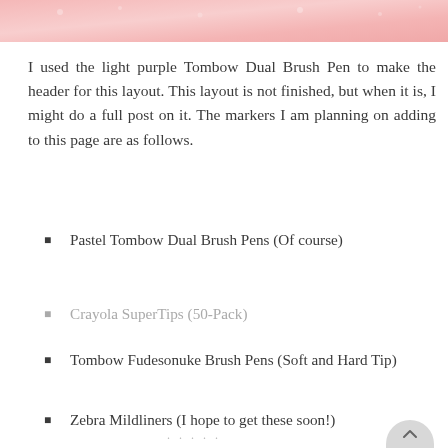[Figure (photo): Partial cropped photo of pink/pastel crafting materials at the top of the page]
I used the light purple Tombow Dual Brush Pen to make the header for this layout. This layout is not finished, but when it is, I might do a full post on it. The markers I am planning on adding to this page are as follows.
Pastel Tombow Dual Brush Pens (Of course)
Crayola SuperTips (50-Pack)
Tombow Fudesonuke Brush Pens (Soft and Hard Tip)
Zebra Mildliners (I hope to get these soon!)